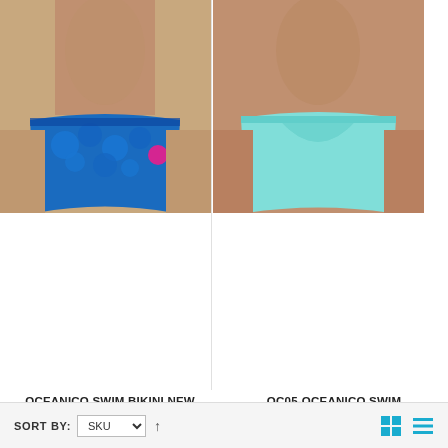[Figure (photo): Man wearing OCEANICO SWIM BIKINI NEW - blue patterned bikini swimwear]
OCEANICO SWIM BIKINI NEW
Log in to see prices
VIEW DETAILS
Add to Compare
[Figure (photo): Man wearing OC05-OCEANICO SWIM BRIEF 1" - solid teal/mint swim brief]
OC05-OCEANICO SWIM BRIEF 1"
Log in to see prices
VIEW DETAILS
Add to Compare
SORT BY: SKU ↑